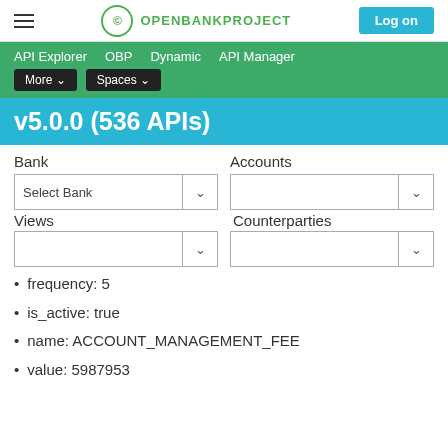OPENBANKPROJECT — Log on
API Explorer   OBP   Dynamic   API Manager   More ▾   Spaces ▾
v5.0.0 (536 APIs)
Bank   Accounts
Select Bank (dropdown)
Views   Counterparties
frequency: 5
is_active: true
name: ACCOUNT_MANAGEMENT_FEE
value: 5987953